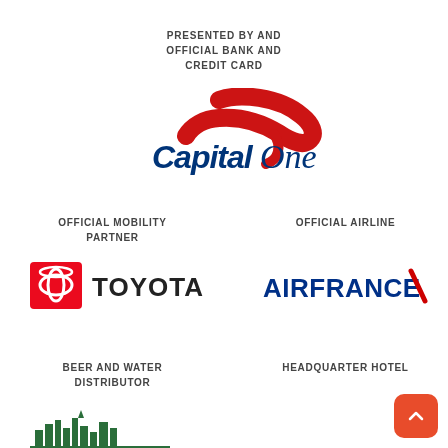PRESENTED BY AND
OFFICIAL BANK AND
CREDIT CARD
[Figure (logo): Capital One logo with red swoosh and blue italic text]
OFFICIAL MOBILITY
PARTNER
OFFICIAL AIRLINE
[Figure (logo): Toyota logo — red square with Toyota circular emblem and TOYOTA text]
[Figure (logo): Air France logo with blue AIRFRANCE text and red diagonal swoosh]
BEER AND WATER
DISTRIBUTOR
HEADQUARTER HOTEL
[Figure (logo): Green stylized city skyline silhouette logo]